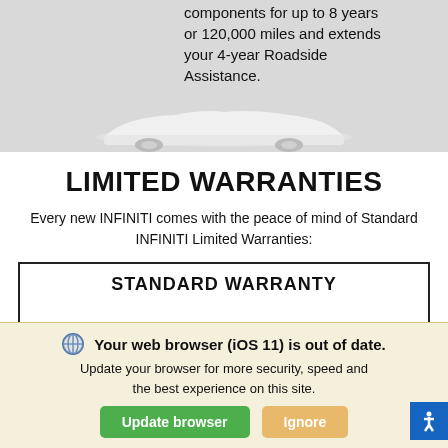[Figure (photo): Gray background with partial text visible about components for up to 8 years or 120,000 miles and extends your 4-year Roadside Assistance, with a white car silhouette at the bottom.]
LIMITED WARRANTIES
Every new INFINITI comes with the peace of mind of Standard INFINITI Limited Warranties:
STANDARD WARRANTY
Your web browser (iOS 11) is out of date. Update your browser for more security, speed and the best experience on this site.